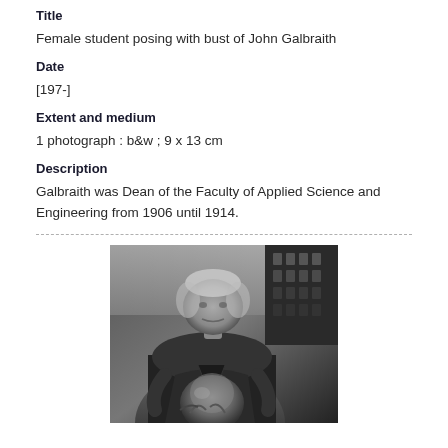Title
Female student posing with bust of John Galbraith
Date
[197-]
Extent and medium
1 photograph : b&w ; 9 x 13 cm
Description
Galbraith was Dean of the Faculty of Applied Science and Engineering from 1906 until 1914.
[Figure (photo): Black and white photograph of an elderly man (likely John Galbraith) holding or examining a bust or spherical object, with a building with grid windows visible in the background.]